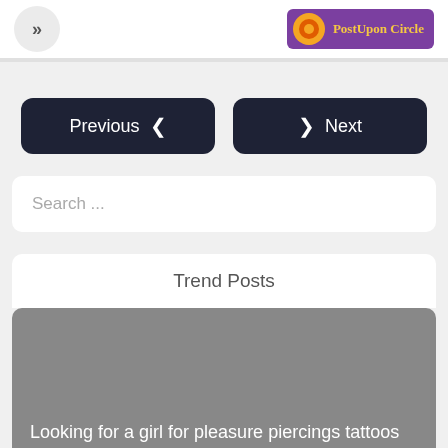»  PostUpon Circle
Previous  Next
Search ...
Trend Posts
Looking for a girl for pleasure piercings tattoos